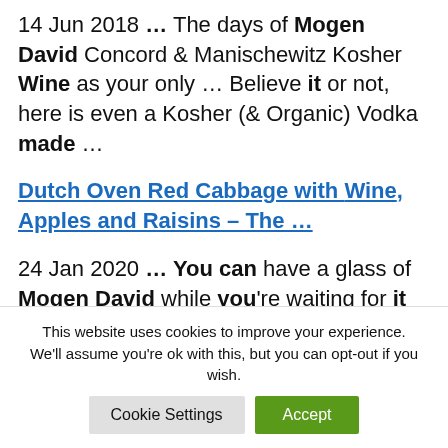14 Jun 2018 ... The days of Mogen David Concord & Manischewitz Kosher Wine as your only ... Believe it or not, here is even a Kosher (& Organic) Vodka made ...
Dutch Oven Red Cabbage with Wine, Apples and Raisins – The ...
24 Jan 2020 ... You can have a glass of Mogen David while you're waiting for it to ... I also make a White Cabbage with White Wine that is
This website uses cookies to improve your experience. We'll assume you're ok with this, but you can opt-out if you wish.